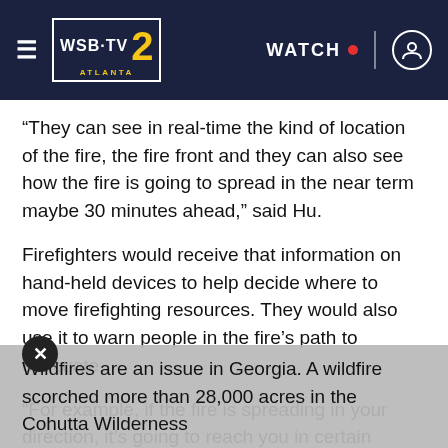WSB-TV 2 ATLANTA — WATCH
“They can see in real-time the kind of location of the fire, the fire front and they can also see how the fire is going to spread in the near term maybe 30 minutes ahead,” said Hu.
Firefighters would receive that information on hand-held devices to help decide where to move firefighting resources. They would also use it to warn people in the fire’s path to evacuate.
“For example, if the fire is spreading in your direction, it’s going to reach you in certain minutes,” said Hu.
Wildfires are an issue in Georgia. A wildfire scorched more than 28,000 acres in the Cohutta Wilderness